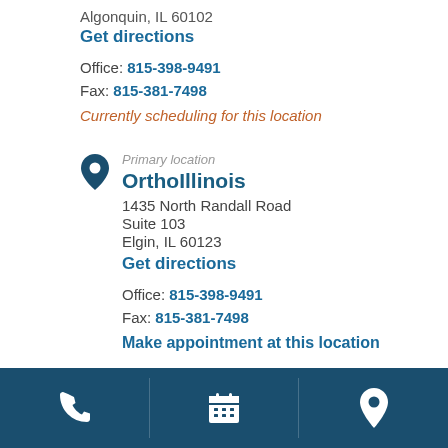Algonquin, IL 60102
Get directions
Office: 815-398-9491
Fax: 815-381-7498
Currently scheduling for this location
Primary location
OrthoIllinois
1435 North Randall Road
Suite 103
Elgin, IL 60123
Get directions
Office: 815-398-9491
Fax: 815-381-7498
Make appointment at this location
[Figure (infographic): Footer navigation bar with three icons on dark teal background: phone icon, calendar icon, and map pin icon, separated by dividers]